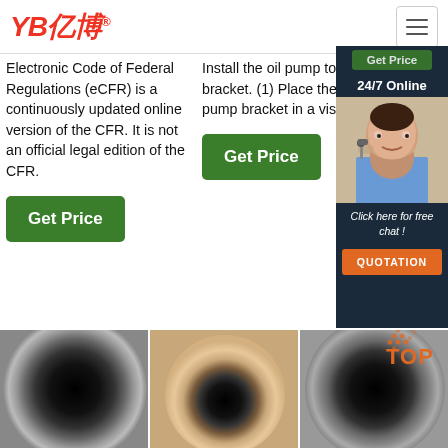YB亿博® [menu button]
Electronic Code of Federal Regulations (eCFR) is a continuously updated online version of the CFR. It is not an official legal edition of the CFR.
Install the oil pump to bracket. (1) Place the oil pump bracket in a vise.
[Figure (screenshot): Get Price button (green), 24/7 Online label, customer service representative photo, Click here for free chat!, QUOTATION orange button]
[Figure (photo): Three photos of industrial hydraulic hoses showing cross-section ends]
TOP